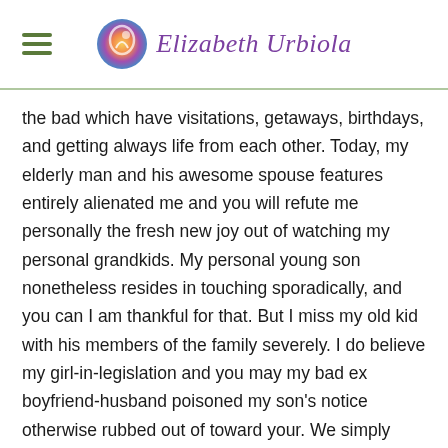Elizabeth Urbiola
the bad which have visitations, getaways, birthdays, and getting always life from each other. Today, my elderly man and his awesome spouse features entirely alienated me and you will refute me personally the fresh new joy out of watching my personal grandkids. My personal young son nonetheless resides in touching sporadically, and you can I am thankful for that. But I miss my old kid with his members of the family severely. I do believe my girl-in-legislation and you may my bad ex boyfriend-husband poisoned my son's notice otherwise rubbed out of toward your. We simply take obligation to have hurting all of them and you may would you like to things you may was in fact different for all of us. However,, today it has been several years and that i anxiety that i tend to maybe not find my